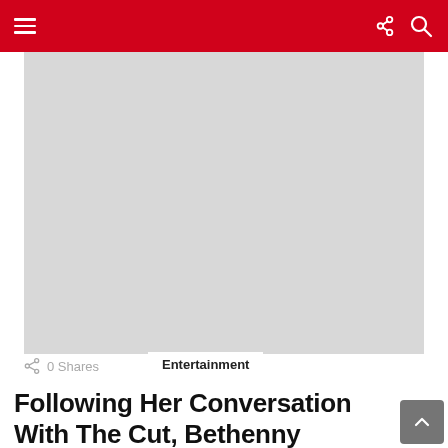Navigation bar with hamburger menu, share icon, and search icon
[Figure (photo): Large gray placeholder image area below the navigation bar]
0 Shares
Entertainment
Following Her Conversation With The Cut, Bethenny Frankel Criticized Meghan Markle